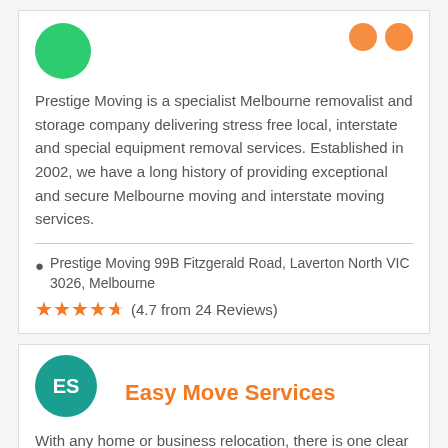Prestige Moving is a specialist Melbourne removalist and storage company delivering stress free local, interstate and special equipment removal services. Established in 2002, we have a long history of providing exceptional and secure Melbourne moving and interstate moving services.
Prestige Moving 99B Fitzgerald Road, Laverton North VIC 3026, Melbourne
(4.7 from 24 Reviews)
Easy Move Services
With any home or business relocation, there is one clear necessity – the need for experienced furniture removalists in Melbourne. Luckily, that describes our team here at EasyMove perfectly. We can transport